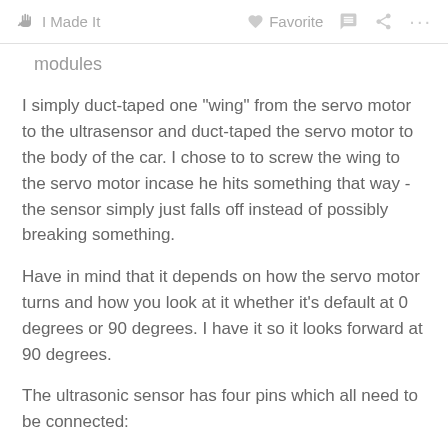I Made It   Favorite   ···
modules
I simply duct-taped one "wing" from the servo motor to the ultrasensor and duct-taped the servo motor to the body of the car. I chose to to screw the wing to the servo motor incase he hits something that way - the sensor simply just falls off instead of possibly breaking something.
Have in mind that it depends on how the servo motor turns and how you look at it whether it's default at 0 degrees or 90 degrees. I have it so it looks forward at 90 degrees.
The ultrasonic sensor has four pins which all need to be connected: